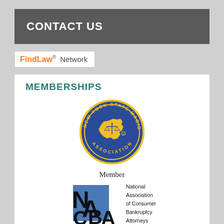CONTACT US
[Figure (logo): FindLaw Network badge with orange FindLaw text and grey Network text]
MEMBERSHIPS
[Figure (logo): New York State Magistrates Association circular seal in blue and yellow]
Member
[Figure (logo): NACBA logo - National Association of Consumer Bankruptcy Attorneys, with blue square graphic and large stylized N A C B A letters]
[Figure (logo): Partially visible dark logo at the bottom of the page]